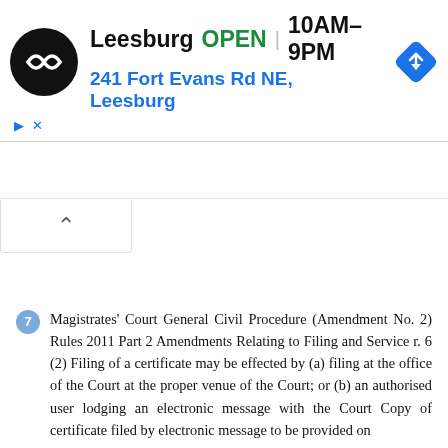[Figure (screenshot): Advertisement banner showing a store locator for Leesburg location, with logo, OPEN status, hours 10AM-9PM, address 241 Fort Evans Rd NE Leesburg, navigation icon, and ad controls (play and close buttons).]
7  Magistrates' Court General Civil Procedure (Amendment No. 2) Rules 2011 Part 2 Amendments Relating to Filing and Service r. 6 (2) Filing of a certificate may be effected by (a) filing at the office of the Court at the proper venue of the Court; or (b) an authorised user lodging an electronic message with the Court Copy of certificate filed by electronic message to be provided on